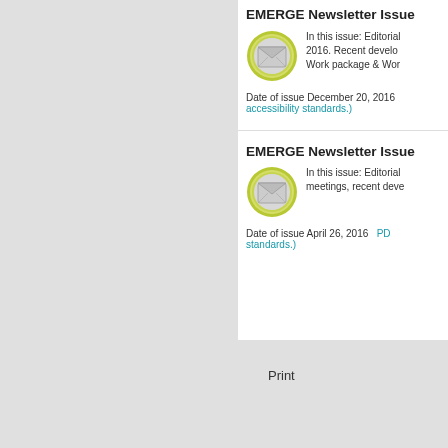EMERGE Newsletter Issue [truncated]
[Figure (illustration): Green circular envelope/mail icon]
In this issue: Editorial 2016. Recent developments. Work package & Work...
Date of issue December 20, 2016   accessibility standards.)
EMERGE Newsletter Issue [truncated]
[Figure (illustration): Green circular envelope/mail icon]
In this issue: Editorial meetings, recent developments...
Date of issue April 26, 2016   PD... standards.)
Print